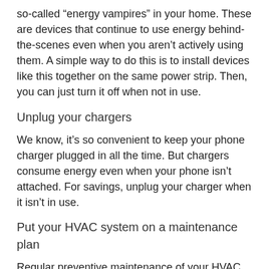so-called “energy vampires” in your home. These are devices that continue to use energy behind-the-scenes even when you aren’t actively using them. A simple way to do this is to install devices like this together on the same power strip. Then, you can just turn it off when not in use.
Unplug your chargers
We know, it’s so convenient to keep your phone charger plugged in all the time. But chargers consume energy even when your phone isn’t attached. For savings, unplug your charger when it isn’t in use.
Put your HVAC system on a maintenance plan
Regular preventive maintenance of your HVAC system will save you in the long run. A well-maintained system runs more efficiently and lasts longer. In addition, it’s best to have a professional spot potential problem before they become emergencies.